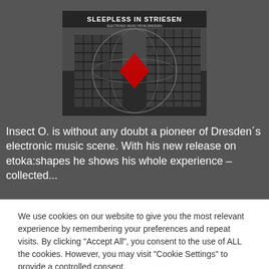[Figure (photo): Album cover image for 'Sleepless in Striesen' showing a brutalist building with a globe and red shape overlay, black and white photography]
Insect O. is without any doubt a pioneer of Dresden´s electronic music scene. With his new release on etoka:shapes he shows his whole experience – collected...
We use cookies on our website to give you the most relevant experience by remembering your preferences and repeat visits. By clicking "Accept All", you consent to the use of ALL the cookies. However, you may visit "Cookie Settings" to provide a controlled consent.